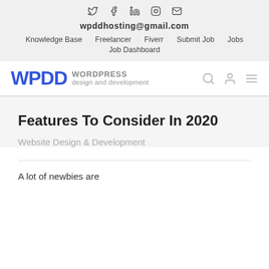Social icons: Twitter, Facebook, LinkedIn, Instagram, Email
wpddhosting@gmail.com
Knowledge Base  Freelancer  Fiverr  Submit Job  Jobs  Job Dashboard
[Figure (logo): WPDD WordPress design and development logo with search, user, and menu icons]
Features To Consider In 2020
Website Design & Development
A lot of newbies are